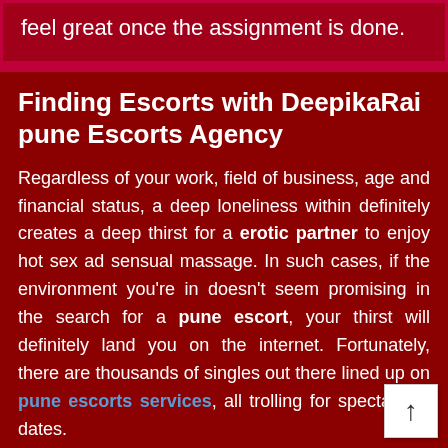feel great once the assignment is done.
Finding Escorts with DeepikaRai pune Escorts Agency
Regardless of your work, field of business, age and financial status, a deep loneliness within definitely creates a deep thirst for a erotic partner to enjoy hot sex ad sensual massage. In such cases, if the environment you’re in doesn’t seem promising in the search for a pune escort, your thirst will definitely land you on the internet. Fortunately, there are thousands of singles out there lined up on pune escorts services, all trolling for spectacular dates.
While it may be easy to sign up, create a profile, upload a picture or video, it is another thing to